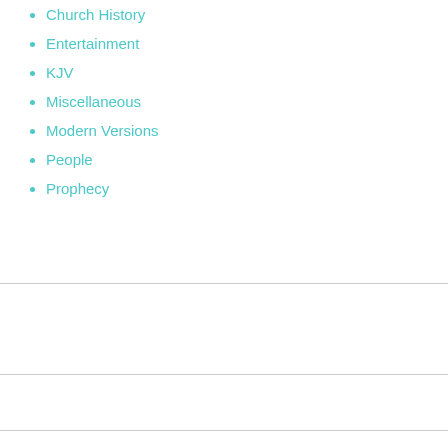Church History
Entertainment
KJV
Miscellaneous
Modern Versions
People
Prophecy